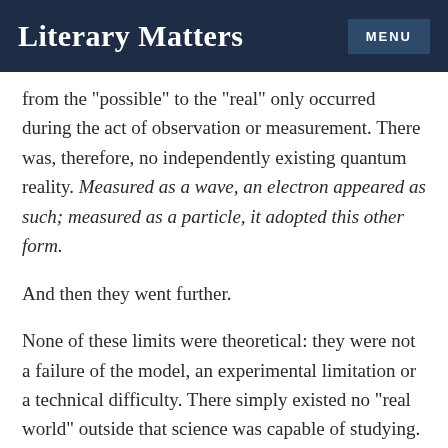Literary Matters | MENU
from the “possible” to the “real” only occurred during the act of observation or measurement. There was, therefore, no independently existing quantum reality. Measured as a wave, an electron appeared as such; measured as a particle, it adopted this other form.
And then they went further.
None of these limits were theoretical: they were not a failure of the model, an experimental limitation or a technical difficulty. There simply existed no “real world” outside that science was capable of studying.